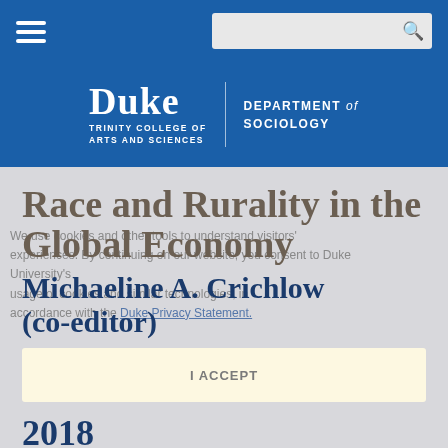[Figure (logo): Duke University Department of Sociology logo with navigation bar and search box on blue background]
Race and Rurality in the Global Economy
Michaeline A. Crichlow (co-editor)
2018
Fernand Braudel Center &amp; SUNY Press